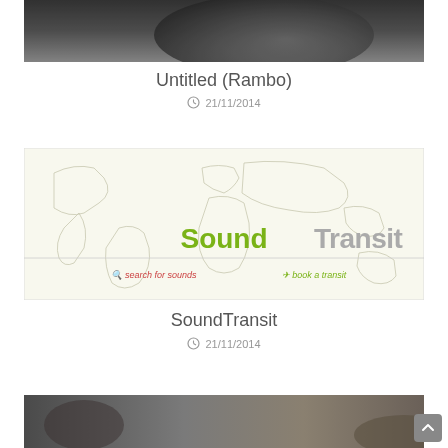[Figure (photo): Dark grayscale photograph cropped at top, appears to show a person or figure, very dark tones]
Untitled (Rambo)
21/11/2014
[Figure (screenshot): SoundTransit website screenshot showing a world map outline with the SoundTransit logo (Sound in green, Transit in gray) and links: search for sounds and book a transit]
SoundTransit
21/11/2014
[Figure (photo): Partial photograph at bottom of page, dark tones, person visible]